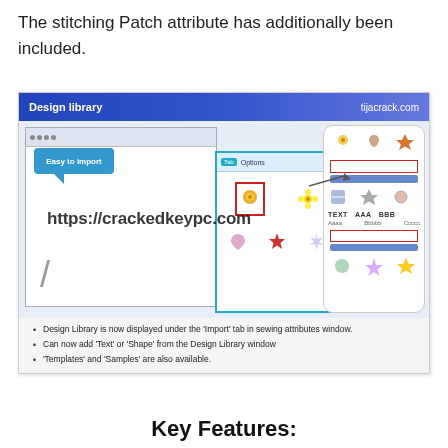The stitching Patch attribute has additionally been included.
[Figure (screenshot): Design Library software window screenshot showing import functionality with icons, speech bubble saying 'Easy to import', teal-bordered panel with embroidery design icons, right panel with thumbnails, and bullet list. Watermark URL https://crackedkeypc.com overlaid. Header shows 'Design library' and 'tijacrack.com'.]
Key Features: